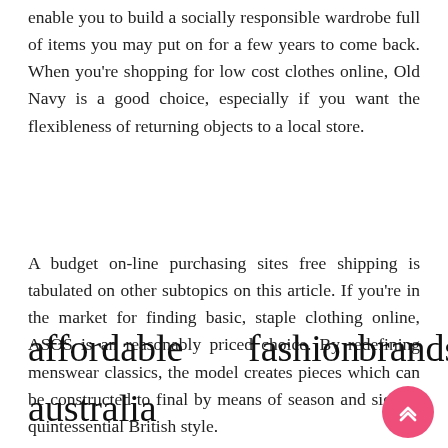enable you to build a socially responsible wardrobe full of items you may put on for a few years to come back. When you're shopping for low cost clothes online, Old Navy is a good choice, especially if you want the flexibleness of returning objects to a local store.
A budget on-line purchasing sites free shipping is tabulated on other subtopics on this article. If you're in the market for finding basic, staple clothing online, ASOS is an reasonably priced choice. By redefining menswear classics, the model creates pieces which can be constructed to final by means of season and signify quintessential British style.
affordable fashion brands australia